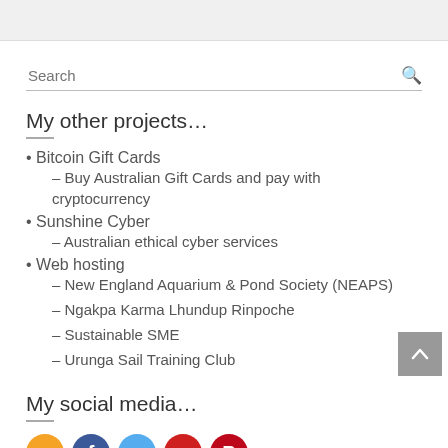Search
My other projects…
Bitcoin Gift Cards – Buy Australian Gift Cards and pay with cryptocurrency
Sunshine Cyber – Australian ethical cyber services
Web hosting – New England Aquarium & Pond Society (NEAPS) – Ngakpa Karma Lhundup Rinpoche – Sustainable SME – Urunga Sail Training Club
My social media…
[Figure (other): Social media icon circles: RSS (orange), Facebook (blue), Twitter (light blue), YouTube (red), Pinterest (red)]